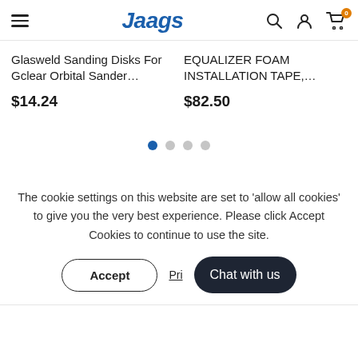Jaags — navigation header with hamburger menu, logo, search, user, and cart icons
Glasweld Sanding Disks For Gclear Orbital Sander… $14.24
EQUALIZER FOAM INSTALLATION TAPE,… $82.50
[Figure (other): Pagination indicator with 4 dots, first dot active (blue)]
The cookie settings on this website are set to 'allow all cookies' to give you the very best experience. Please click Accept Cookies to continue to use the site.
Accept  Privacy  Chat with us